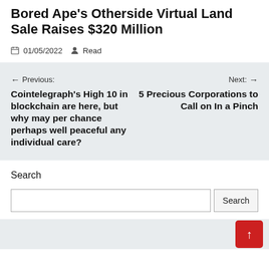Bored Ape's Otherside Virtual Land Sale Raises $320 Million
01/05/2022   Read
← Previous: Cointelegraph's High 10 in blockchain are here, but why may per chance perhaps well peaceful any individual care?
Next: → 5 Precious Corporations to Call on In a Pinch
Search
Search button